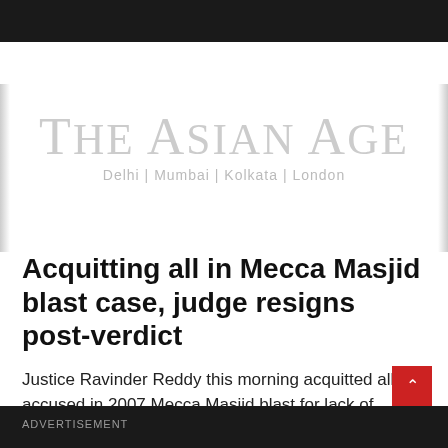THE ASIAN AGE
Delhi | Mumbai | Kolkata | London
Acquitting all in Mecca Masjid blast case, judge resigns post-verdict
Justice Ravinder Reddy this morning acquitted all five accused in 2007 Mecca Masjid blast for lack of evidence.
16 Apr 2018 7:23 PM
ADVERTISEMENT